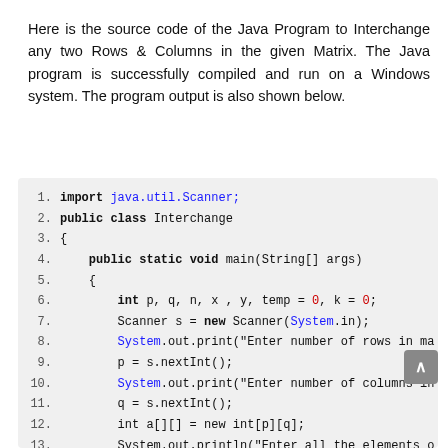Here is the source code of the Java Program to Interchange any two Rows & Columns in the given Matrix. The Java program is successfully compiled and run on a Windows system. The program output is also shown below.
[Figure (screenshot): Java source code block with line numbers 1-14. Lines 1-11 are clearly visible in dark text on a light gray background. Lines 12-14 are faded/grayed out. Code shows import statement, class declaration, main method, variable declarations, Scanner instantiation, and System.out.print calls.]